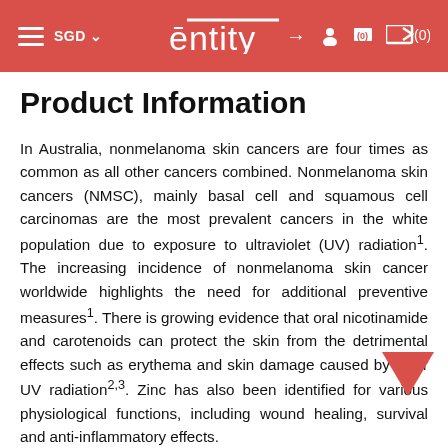≡ SGD ∨   ēntity   →) ♟ 🛒 (0)
Product Information
In Australia, nonmelanoma skin cancers are four times as common as all other cancers combined. Nonmelanoma skin cancers (NMSC), mainly basal cell and squamous cell carcinomas are the most prevalent cancers in the white population due to exposure to ultraviolet (UV) radiation¹. The increasing incidence of nonmelanoma skin cancer worldwide highlights the need for additional preventive measures¹. There is growing evidence that oral nicotinamide and carotenoids can protect the skin from the detrimental effects such as erythema and skin damage caused by solar UV radiation²·³. Zinc has also been identified for various physiological functions, including wound healing, survival and anti-inflammatory effects.
Repair damaged DNA